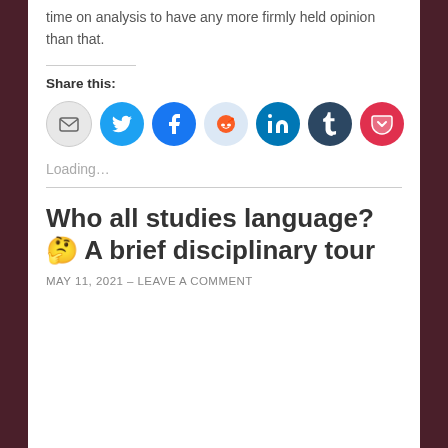time on analysis to have any more firmly held opinion than that.
Share this:
[Figure (infographic): Row of social media share icons: Email (grey circle), Twitter (blue bird), Facebook (blue f), Reddit (light blue alien), LinkedIn (dark blue in), Tumblr (dark blue t), Pocket (red pocket icon)]
Loading...
Who all studies language? 🤔 A brief disciplinary tour
MAY 11, 2021 – LEAVE A COMMENT